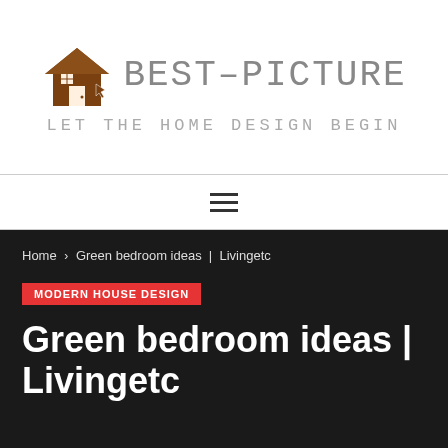[Figure (logo): Best-Picture website logo with a brown house icon and the text BEST-PICTURE in gray monospace font, with tagline LET THE HOME DESIGN BEGIN below]
☰ (hamburger menu icon)
Home > Green bedroom ideas | Livingetc
MODERN HOUSE DESIGN
Green bedroom ideas | Livingetc